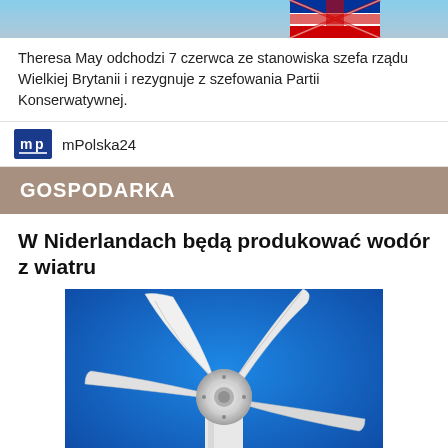[Figure (photo): Top strip showing partial image with flag decoration (UK flag visible)]
Theresa May odchodzi 7 czerwca ze stanowiska szefa rządu Wielkiej Brytanii i rezygnuje z szefowania Partii Konserwatywnej.
mPolska24
GOSPODARKA
W Niderlandach będą produkować wodór z wiatru
[Figure (photo): Close-up photo of a wind turbine hub and blades against a blue sky, viewed from below]